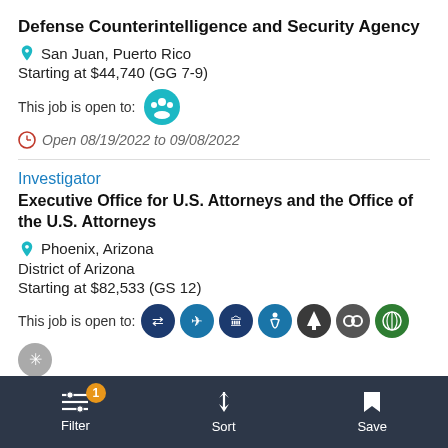Defense Counterintelligence and Security Agency
San Juan, Puerto Rico
Starting at $44,740 (GG 7-9)
This job is open to:
Open 08/19/2022 to 09/08/2022
Investigator
Executive Office for U.S. Attorneys and the Office of the U.S. Attorneys
Phoenix, Arizona
District of Arizona
Starting at $82,533 (GS 12)
This job is open to:
Filter  Sort  Save